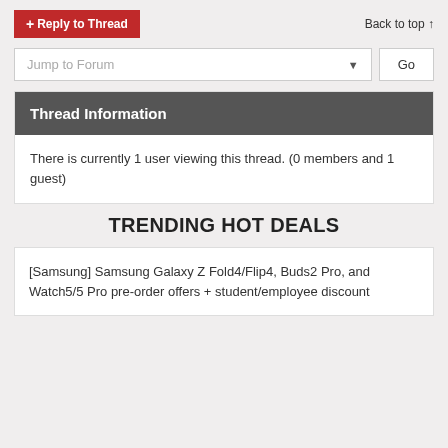+ Reply to Thread
Back to top ↑
Jump to Forum
Go
Thread Information
There is currently 1 user viewing this thread. (0 members and 1 guest)
TRENDING HOT DEALS
[Samsung] Samsung Galaxy Z Fold4/Flip4, Buds2 Pro, and Watch5/5 Pro pre-order offers + student/employee discount